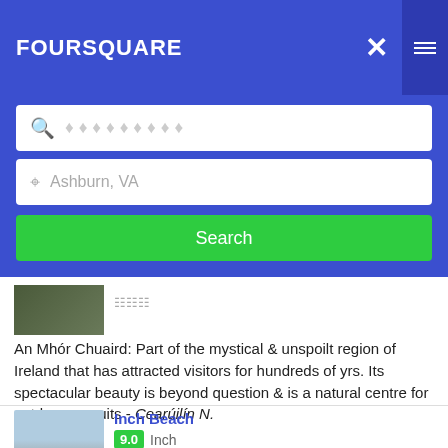FOURSQUARE
[Figure (screenshot): Foursquare app search interface with search bar showing placeholder diamonds, location field showing Ashburn VA, and green Search button]
An Mhór Chuaird: Part of the mystical & unspoilt region of Ireland that has attracted visitors for hundreds of yrs. Its spectacular beauty is beyond question & is a natural centre for outdoor pursuits - Cearúilín N.
Inch Beach
9.0  Inch
Make sure to park on the sand best way to experience Inch - Peter K.
The Black Pig